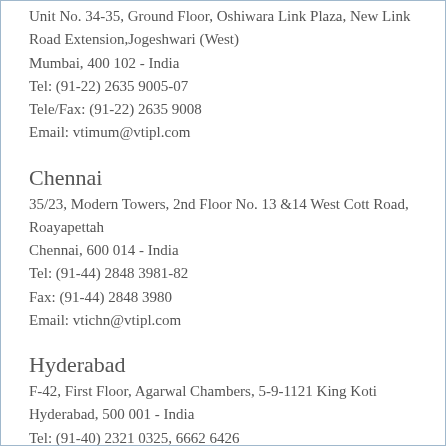Unit No. 34-35, Ground Floor, Oshiwara Link Plaza, New Link Road Extension, Jogeshwari (West)
Mumbai, 400 102 - India
Tel: (91-22) 2635 9005-07
Tele/Fax: (91-22) 2635 9008
Email: vtimum@vtipl.com
Chennai
35/23, Modern Towers, 2nd Floor No. 13 &14 West Cott Road, Roayapettah
Chennai, 600 014 - India
Tel: (91-44) 2848 3981-82
Fax: (91-44) 2848 3980
Email: vtichn@vtipl.com
Hyderabad
F-42, First Floor, Agarwal Chambers, 5-9-1121 King Koti
Hyderabad, 500 001 - India
Tel: (91-40) 2321 0325, 6662 6426